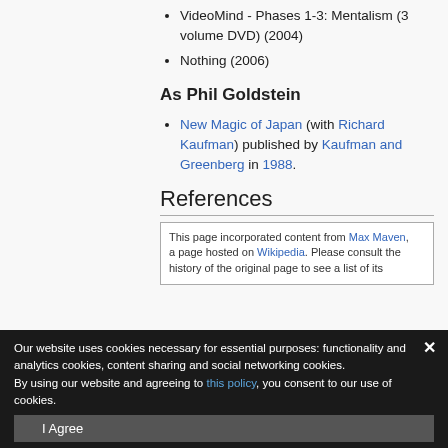VideoMind - Phases 1-3: Mentalism (3 volume DVD) (2004)
Nothing (2006)
As Phil Goldstein
New Magic of Japan (with Richard Kaufman) published by Kaufman and Greenberg in 1988.
References
This page incorporated content from Max Maven, a page hosted on Wikipedia. Please consult the history of the original page to see a list of its
Our website uses cookies necessary for essential purposes: functionality and analytics cookies, content sharing and social networking cookies. By using our website and agreeing to this policy, you consent to our use of cookies.
I Agree